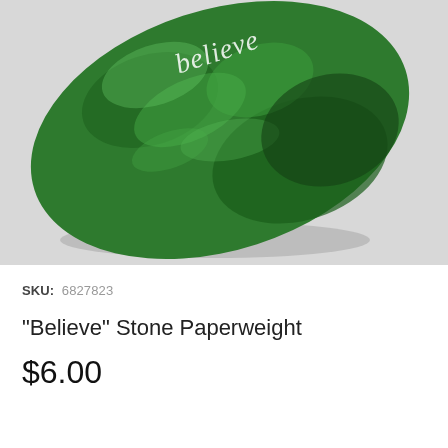[Figure (photo): A green marble-textured oval stone paperweight with the word 'believe' engraved in white text on its surface, photographed on a white/light gray background.]
SKU: 6827823
"Believe" Stone Paperweight
$6.00